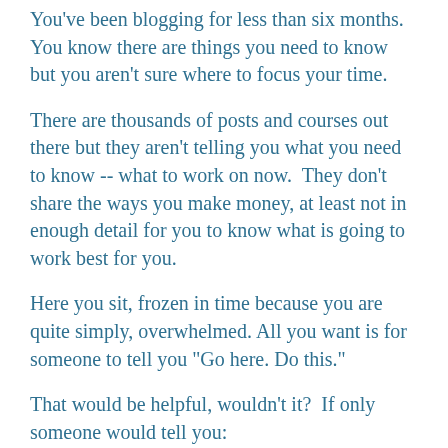You've been blogging for less than six months. You know there are things you need to know but you aren't sure where to focus your time.
There are thousands of posts and courses out there but they aren't telling you what you need to know -- what to work on now.  They don't share the ways you make money, at least not in enough detail for you to know what is going to work best for you.
Here you sit, frozen in time because you are quite simply, overwhelmed. All you want is for someone to tell you "Go here. Do this."
That would be helpful, wouldn't it?  If only someone would tell you: